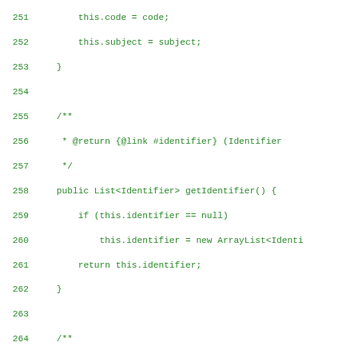Source code listing lines 251-279, Java code showing constructor and methods: getIdentifier, setIdentifier, hasIdentifier